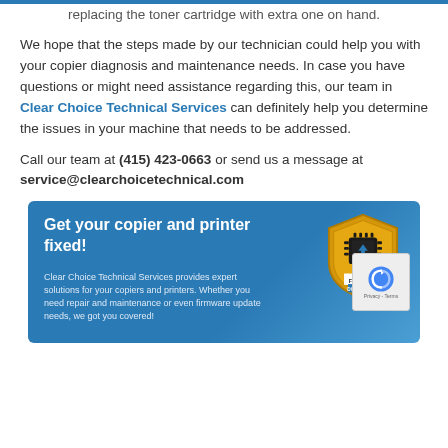replacing the toner cartridge with extra one on hand.
We hope that the steps made by our technician could help you with your copier diagnosis and maintenance needs. In case you have questions or might need assistance regarding this, our team in Clear Choice Technical Services can definitely help you determine the issues in your machine that needs to be addressed.
Call our team at (415) 423-0663 or send us a message at service@clearchoicetechnical.com
[Figure (infographic): Blue banner ad for Clear Choice Technical Services showing 'Get your copier and printer fixed!' with a firmware/chip badge icon and small description text about copier and printer repair services.]